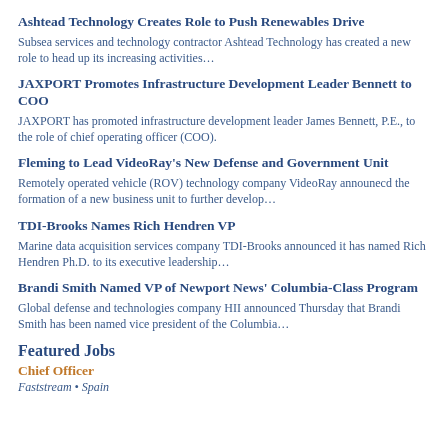Ashtead Technology Creates Role to Push Renewables Drive
Subsea services and technology contractor Ashtead Technology has created a new role to head up its increasing activities…
JAXPORT Promotes Infrastructure Development Leader Bennett to COO
JAXPORT has promoted infrastructure development leader James Bennett, P.E., to the role of chief operating officer (COO).
Fleming to Lead VideoRay's New Defense and Government Unit
Remotely operated vehicle (ROV) technology company VideoRay announecd the formation of a new business unit to further develop…
TDI-Brooks Names Rich Hendren VP
Marine data acquisition services company TDI-Brooks announced it has named Rich Hendren Ph.D. to its executive leadership…
Brandi Smith Named VP of Newport News' Columbia-Class Program
Global defense and technologies company HII announced Thursday that Brandi Smith has been named vice president of the Columbia…
Featured Jobs
Chief Officer
Faststream • Spain